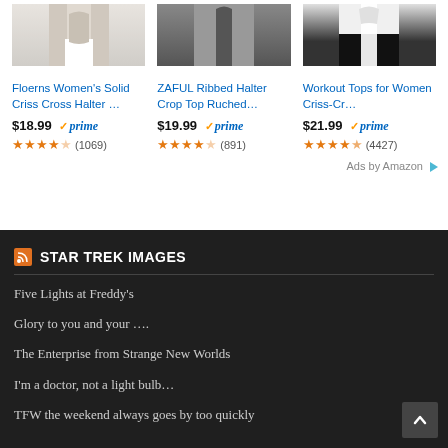[Figure (photo): Three product images: women's halter tops for Amazon product listings]
Floerns Women's Solid Criss Cross Halter …
$18.99 ✓prime ★★★★☆ (1069)
ZAFUL Ribbed Halter Crop Top Ruched…
$19.99 ✓prime ★★★★☆ (891)
Workout Tops for Women Criss-Cr…
$21.99 ✓prime ★★★★½ (4427)
Ads by Amazon ▷
STAR TREK IMAGES
Five Lights at Freddy's
Glory to you and your ….
The Enterprise from Strange New Worlds
I'm a doctor, not a light bulb…
TFW the weekend always goes by too quickly